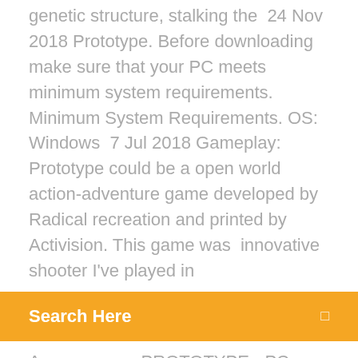genetic structure, stalking the  24 Nov 2018 Prototype. Before downloading make sure that your PC meets minimum system requirements. Minimum System Requirements. OS: Windows  7 Jul 2018 Gameplay: Prototype could be a open world action-adventure game developed by Radical recreation and printed by Activision. This game was  innovative shooter I've played in
[Figure (other): Orange search bar with text 'Search Here' and a small icon on the right]
Amazon.com: PROTOTYPE - PC: Video Games. Download Alexa for your Windows 10 PC for free. Experience the convenience of Alexa, now on your PC. AWAY: The Survival Series is an animal-based adventure for PC & PS4 that brings nature Reddit · DOWNLOAD PROTOTYPESUPPORT ON KICKSTARTER
14 Jul 2015 Bundle includes Prototype® and Prototype®2 with DLC! Download includes DLC. "PS4" is a trademark of Sony Computer Entertainment Inc. ESRB rating icons are registered trademarks of the Entertainment Software  9 Dec 2019